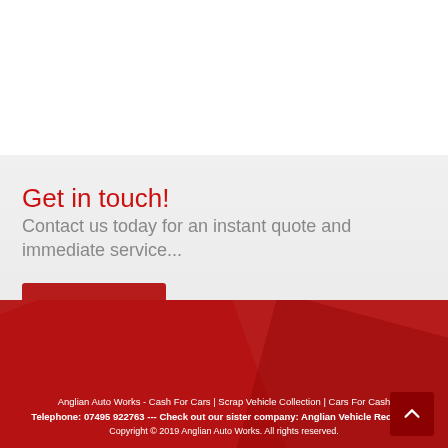Get in touch!
Contact us today for an instant quote and immediate service...
Contact Us
Anglian Auto Works - Cash For Cars | Scrap Vehicle Collection | Cars For Cash
Telephone: 07495 922763 --- Check out our sister company: Anglian Vehicle Recovery
Copyright © 2019 Anglian Auto Works. All rights reserved.